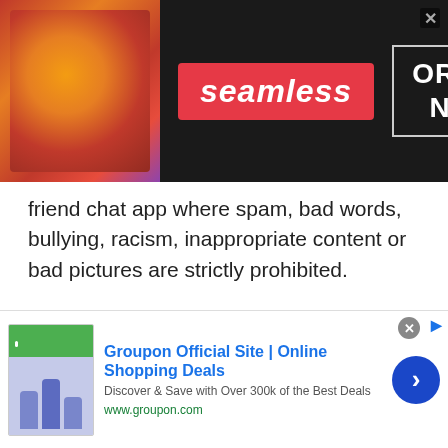[Figure (other): Seamless food delivery advertisement banner with pizza image on left, red Seamless logo in center, and ORDER NOW button on right with dark background]
friend chat app where spam, bad words, bullying, racism, inappropriate content or bad pictures are strictly prohibited.
Kids are suggested to stay kind and polite with their online chat friends. No one is allowed to say bad words or violate chat rules. You don't need to be offensive, fight and disrespect in online talk to strangers. One of the most important things to keep in mind while online chat, don't share your personal information as professional
[Figure (other): Groupon Official Site | Online Shopping Deals advertisement banner. Discover & Save with Over 300k of the Best Deals. www.groupon.com. Blue circular arrow button on right.]